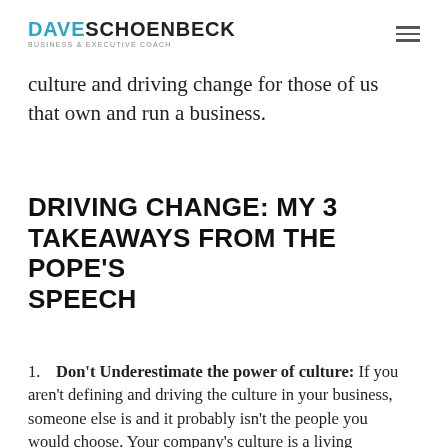DAVE SCHOENBECK BUSINESS & EXECUTIVE COACH
culture and driving change for those of us that own and run a business.
DRIVING CHANGE: MY 3 TAKEAWAYS FROM THE POPE'S SPEECH
1. Don't Underestimate the power of culture: If you aren't defining and driving the culture in your business, someone else is and it probably isn't the people you would choose. Your company's culture is a living organism that needs cultivation, feeding, nurturing, and tough love. A great culture is the gonesis of success and